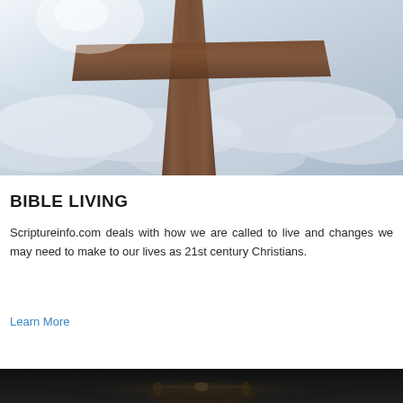[Figure (photo): A wooden cross against a cloudy sky with light coming from upper left]
BIBLE LIVING
Scriptureinfo.com deals with how we are called to live and changes we may need to make to our lives as 21st century Christians.
Learn More
[Figure (photo): A dark image showing what appears to be a Bible or religious book partially visible at the bottom of the page]